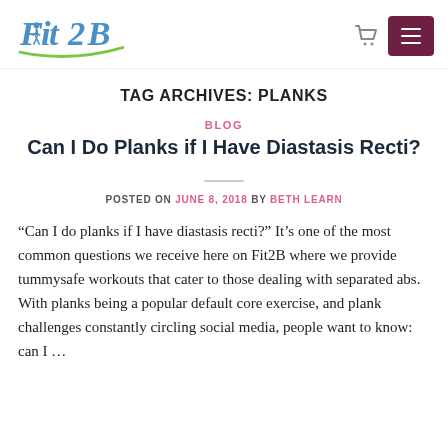[Figure (logo): Fit2B logo — stylized text with blue 'Fit2B' lettering and green swoosh/figure]
TAG ARCHIVES: PLANKS
BLOG
Can I Do Planks if I Have Diastasis Recti?
POSTED ON JUNE 8, 2018 BY BETH LEARN
“Can I do planks if I have diastasis recti?” It’s one of the most common questions we receive here on Fit2B where we provide tummysafe workouts that cater to those dealing with separated abs. With planks being a popular default core exercise, and plank challenges constantly circling social media, people want to know: can I …